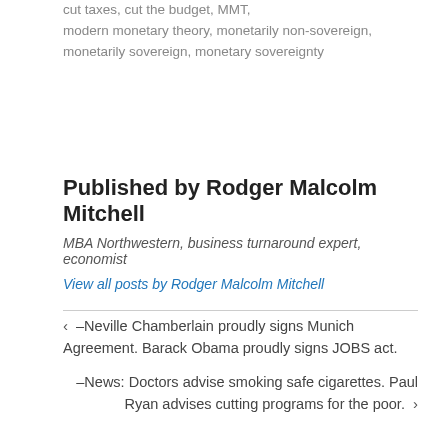cut taxes,  cut the budget,  MMT,  modern monetary theory,  monetarily non-sovereign,  monetarily sovereign,  monetary sovereignty
Published by Rodger Malcolm Mitchell
MBA Northwestern, business turnaround expert, economist
View all posts by Rodger Malcolm Mitchell
← –Neville Chamberlain proudly signs Munich Agreement. Barack Obama proudly signs JOBS act.
–News: Doctors advise smoking safe cigarettes. Paul Ryan advises cutting programs for the poor. →